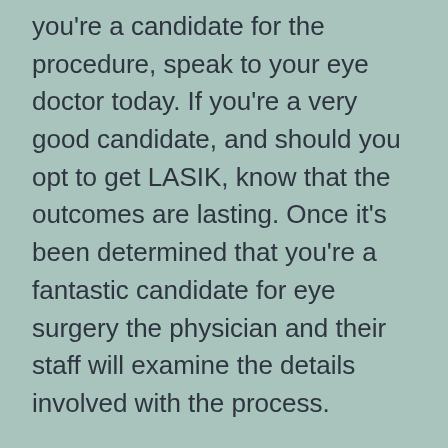you're a candidate for the procedure, speak to your eye doctor today. If you're a very good candidate, and should you opt to get LASIK, know that the outcomes are lasting. Once it's been determined that you're a fantastic candidate for eye surgery the physician and their staff will examine the details involved with the process.
What Am I a Candidate for Lasik Is – and What it Is Not